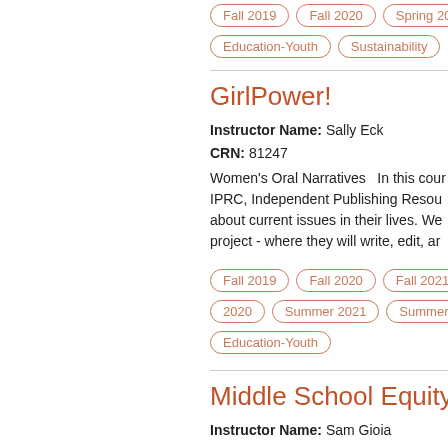Fall 2019
Fall 2020
Spring 2020
Education-Youth
Sustainability
GirlPower!
Instructor Name: Sally Eck
CRN: 81247
Women's Oral Narratives  In this cour IPRC, Independent Publishing Resou about current issues in their lives. We project - where they will write, edit, ar
Fall 2019
Fall 2020
Fall 2021
2020
Summer 2021
Summer 2022
Education-Youth
Middle School Equity &
Instructor Name: Sam Gioia
CRN: 81253
Course Description:  Middle School E community engagement PSU student by immigrant children and their familie